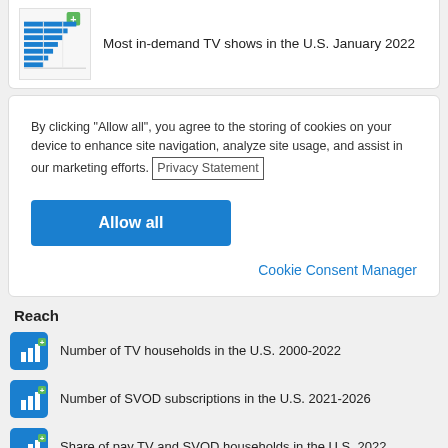[Figure (bar-chart): Partial horizontal bar chart thumbnail showing 'Most in-demand TV shows in the U.S. January 2022']
Most in-demand TV shows in the U.S. January 2022
By clicking "Allow all", you agree to the storing of cookies on your device to enhance site navigation, analyze site usage, and assist in our marketing efforts. Privacy Statement
Allow all
Cookie Consent Manager
Reach
Number of TV households in the U.S. 2000-2022
Number of SVOD subscriptions in the U.S. 2021-2026
Share of pay TV and SVOD households in the U.S. 2022